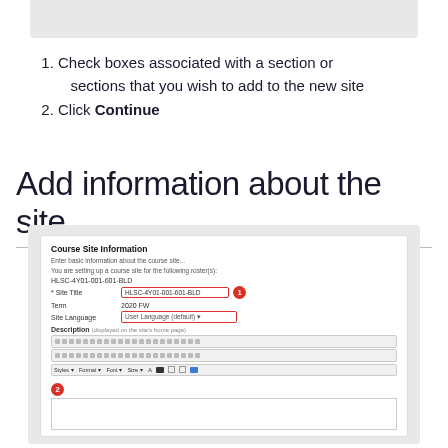[Figure (screenshot): Gray bar at top of page, partial screenshot of a web interface]
Check boxes associated with a section or sections that you wish to add to the new site
Click Continue
Add information about the site
[Figure (screenshot): Screenshot of Course Site Information form with fields for Site Title (showing HLSC-4Y01-001-601-BLD with badge 1), Term (2020 FW), Site Language (User Language dropdown), Description with toolbar, and badge 2 at bottom]